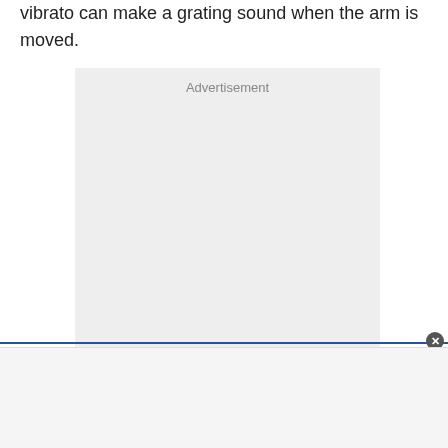vibrato can make a grating sound when the arm is moved.
[Figure (other): Advertisement placeholder box with light gray background and 'Advertisement' label at top center]
[Figure (other): Bottom advertisement banner area with blue top border and close button]